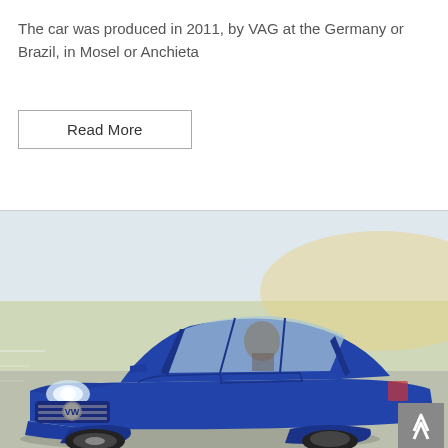The car was produced in 2011, by VAG at the Germany or Brazil, in Mosel or Anchieta
Read More
[Figure (photo): A blue Volkswagen Golf hatchback driving on a road, photographed from a slightly elevated front-left angle. The car is in motion with a blurred background of green fields and sky. The VW logo is visible on the front grille.]